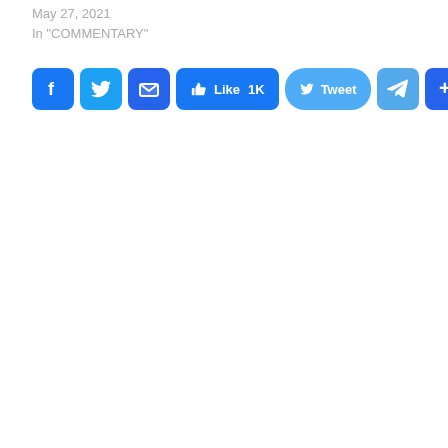May 27, 2021
In "COMMENTARY"
[Figure (infographic): Social media sharing buttons: Facebook, Twitter, Email (icon buttons), Like 1K (Facebook), Tweet (Twitter), Telegram, and Share (+) buttons]